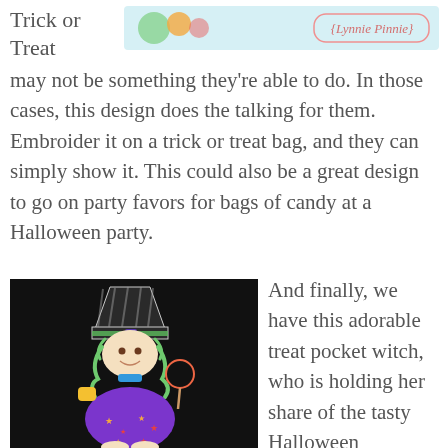Trick or Treat
[Figure (illustration): Colorful embroidery design banner with Lynnie Pinnie logo on light blue background]
may not be something they're able to do. In those cases, this design does the talking for them. Embroider it on a trick or treat bag, and they can simply show it. This could also be a great design to go on party favors for bags of candy at a Halloween party.
[Figure (photo): Photo of a treat pocket witch embroidery applique on black fabric - cartoon witch with purple star dress holding a lollipop]
And finally, we have this adorable treat pocket witch, who is holding her share of the tasty Halloween